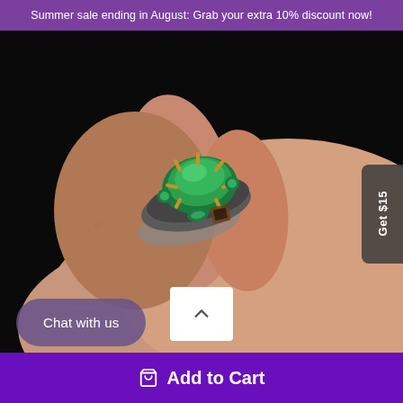Summer sale ending in August: Grab your extra 10% discount now!
[Figure (photo): Close-up photo of a man's fist wearing a large ornate silver ring with a large green gemstone center stone, gold claw prongs, small green accent stones, and intricate dark metalwork. The ring is displayed prominently on the knuckle of the index finger against a black background.]
Get $15
Chat with us
Add to Cart